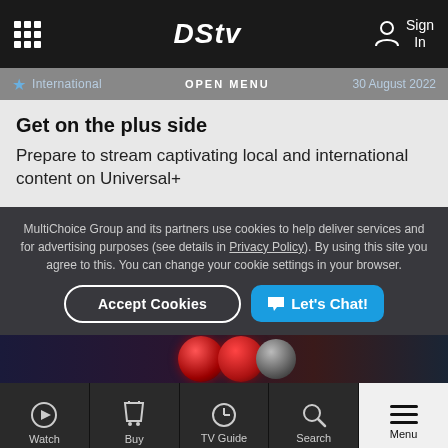DStv — Navigation bar with grid menu icon, DStv logo, and Sign In button
OPEN MENU   International   30 August 2022
Get on the plus side
Prepare to stream captivating local and international content on Universal+
MultiChoice Group and its partners use cookies to help deliver services and for advertising purposes (see details in Privacy Policy). By using this site you agree to this. You can change your cookie settings in your browser.
Accept Cookies
Let's Chat!
[Figure (screenshot): Dark image strip showing red and grey spheres/balls]
Watch | Buy | TV Guide | Search | Menu